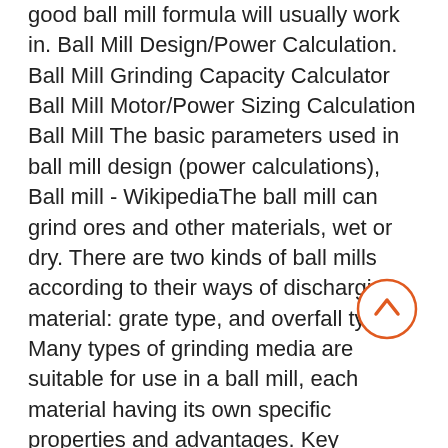good ball mill formula will usually work in. Ball Mill Design/Power Calculation. Ball Mill Grinding Capacity Calculator Ball Mill Motor/Power Sizing Calculation Ball Mill The basic parameters used in ball mill design (power calculations), Ball mill - WikipediaThe ball mill can grind ores and other materials, wet or dry. There are two kinds of ball mills according to their ways of discharging material: grate type, and overfall type. Many types of grinding media are suitable for use in a ball mill, each material having its own specific properties and advantages. Key properties of grinding media are size, density, hardness, and composition. Size: The wet ball mills 1 t capacity ball mill volume calculation · calcu of volume in ball mill capacity Description : grinding volume calculation in a ball mill This page is about formula to calculate ball read more volume of ball mill calculations Gold Ore Crusher How to Calculate Charge Volume in Ball . wet ball mills capacity - ascots.deBall Mill Power Calculation Example. A wet grinding ball mill in
[Figure (other): A circular back-to-top button with an upward arrow, orange/red outline and arrow icon on white background.]